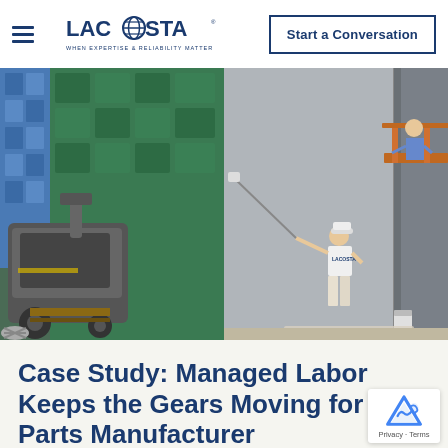LACOSTA — When Expertise & Reliability Matter | Start a Conversation
[Figure (photo): Left: Industrial floor sweeper machine next to green storage crates in a warehouse. Right: Worker in LACOSTA shirt painting a large grey wall with a long roller on a scaffold platform.]
Case Study: Managed Labor Keeps the Gears Moving for Auto Parts Manufacturer